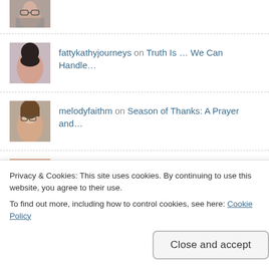[Figure (photo): Partial avatar of first commenter at top (cropped)]
fattykathyjourneys on Truth Is … We Can Handle…
melodyfaithm on Season of Thanks: A Prayer and…
praymillennials on Season of Thanks: A Prayer and…
Blog Archives
Privacy & Cookies: This site uses cookies. By continuing to use this website, you agree to their use.
To find out more, including how to control cookies, see here: Cookie Policy
Close and accept